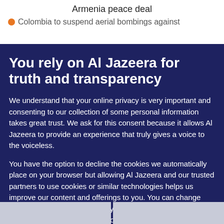Armenia peace deal
Colombia to suspend aerial bombings against
You rely on Al Jazeera for truth and transparency
We understand that your online privacy is very important and consenting to our collection of some personal information takes great trust. We ask for this consent because it allows Al Jazeera to provide an experience that truly gives a voice to the voiceless.
You have the option to decline the cookies we automatically place on your browser but allowing Al Jazeera and our trusted partners to use cookies or similar technologies helps us improve our content and offerings to you. You can change your privacy preferences at any time by selecting ‘Cookie preferences’ at the bottom of your screen. To learn more, please view our Cookie Policy.